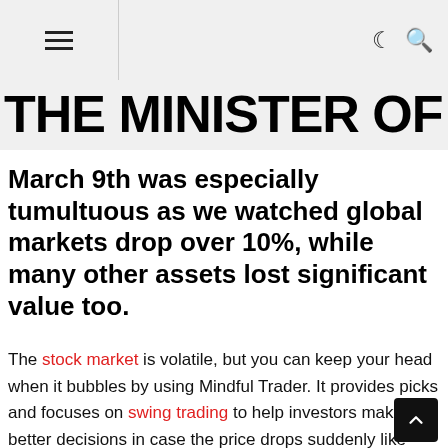THE MINISTER OF
March 9th was especially tumultuous as we watched global markets drop over 10%, while many other assets lost significant value too.
The stock market is volatile, but you can keep your head when it bubbles by using Mindful Trader. It provides picks and focuses on swing trading to help investors make better decisions in case the price drops suddenly like what happened with 34% drop over 33 days back in 2020.